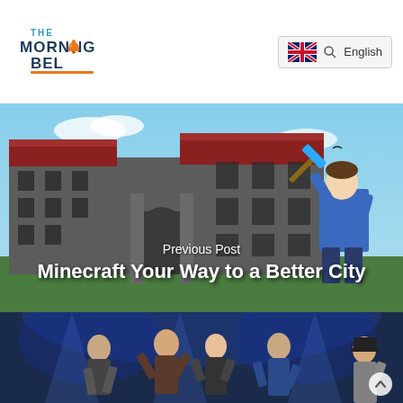[Figure (logo): The Morning Bell logo — text with a bell icon and orange/teal color scheme]
[Figure (other): UK flag language selector showing 'English']
[Figure (photo): Minecraft-style rendered building (large stone mansion with red roof) with a real boy holding a pickaxe in front, blue sky background. Text overlay reads 'Previous Post' and 'Minecraft Your Way to a Better City']
Previous Post
Minecraft Your Way to a Better City
[Figure (photo): Dark scene with teenagers/children performing on a stage with blue background lighting]